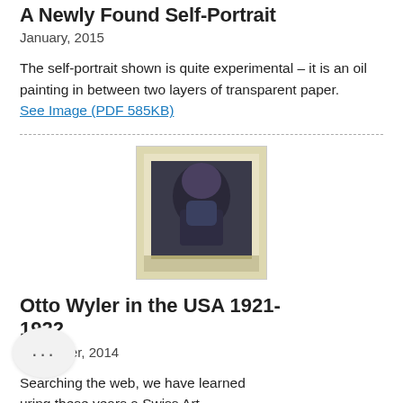A Newly Found Self-Portrait
January, 2015
The self-portrait shown is quite experimental – it is an oil painting in between two layers of transparent paper.
See Image (PDF 585KB)
[Figure (photo): Photograph of a painting — appears to be a self-portrait artwork with dark tones, possibly oil on paper, shown in a light beige/cream bordered frame.]
Otto Wyler in the USA 1921-1922
December, 2014
Searching the web, we have learned uring these years a Swiss Art tion which included an important painting by Otto Wyler  was shown at